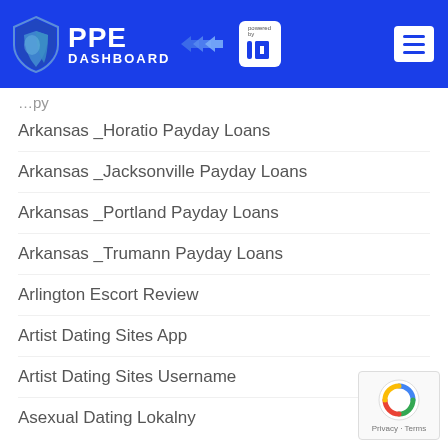PPE DASHBOARD powered by idh
Arkansas_Horatio Payday Loans
Arkansas_Jacksonville Payday Loans
Arkansas_Portland Payday Loans
Arkansas_Trumann Payday Loans
Arlington Escort Review
Artist Dating Sites App
Artist Dating Sites Username
Asexual Dating Lokalny